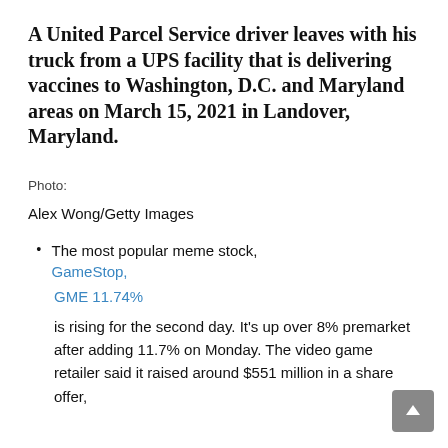A United Parcel Service driver leaves with his truck from a UPS facility that is delivering vaccines to Washington, D.C. and Maryland areas on March 15, 2021 in Landover, Maryland.
Photo:
Alex Wong/Getty Images
The most popular meme stock, GameStop,
GME 11.74%
is rising for the second day. It's up over 8% premarket after adding 11.7% on Monday. The video game retailer said it raised around $551 million in a share offer,